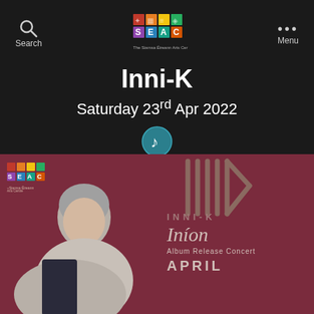Search  [SEAC logo]  Menu
Inni-K
Saturday 23rd Apr 2022
[Figure (illustration): Teal circular music note icon]
[Figure (photo): Event poster showing a woman with grey hair and scarf against a dark red/maroon background, with SEAC logo top-left, decorative vertical lines top-right, text reading INNI-K, Iníon, Album Release Concert, APRIL on the right side]